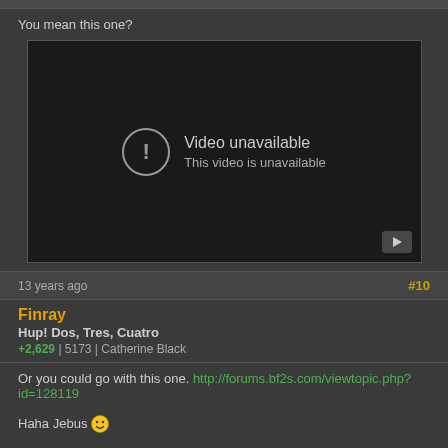You mean this one?
[Figure (screenshot): Embedded video player showing 'Video unavailable / This video is unavailable' error message with exclamation icon and play button in corner]
13 years ago
#10
Finray
Hup! Dos, Tres, Cuatro
+2,629 | 5173 | Catherine Black
Or you could go with this one. http://forums.bf2s.com/viewtopic.php?id=128119

Haha Jebus 😁